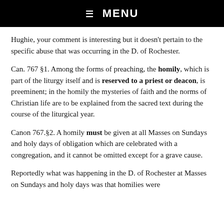☰ MENU
Hughie, your comment is interesting but it doesn't pertain to the specific abuse that was occurring in the D. of Rochester.
Can. 767 §1. Among the forms of preaching, the homily, which is part of the liturgy itself and is reserved to a priest or deacon, is preeminent; in the homily the mysteries of faith and the norms of Christian life are to be explained from the sacred text during the course of the liturgical year.
Canon 767.§2. A homily must be given at all Masses on Sundays and holy days of obligation which are celebrated with a congregation, and it cannot be omitted except for a grave cause.
Reportedly what was happening in the D. of Rochester at Masses on Sundays and holy days was that homilies were